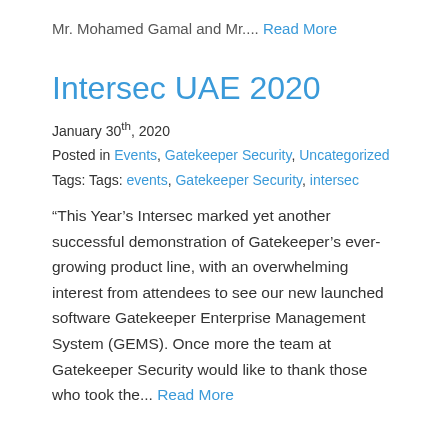Mr. Mohamed Gamal and Mr.... Read More
Intersec UAE 2020
January 30th, 2020
Posted in Events, Gatekeeper Security, Uncategorized
Tags: Tags: events, Gatekeeper Security, intersec
“This Year’s Intersec marked yet another successful demonstration of Gatekeeper’s ever-growing product line, with an overwhelming interest from attendees to see our new launched software Gatekeeper Enterprise Management System (GEMS). Once more the team at Gatekeeper Security would like to thank those who took the... Read More